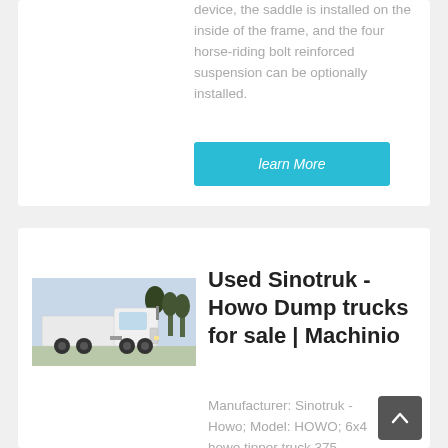device, the saddle is installed on the inside of the frame, and the four horse-riding bolt reinforced suspension can be optionally installed.
learn More
[Figure (photo): White Sinotruk HOWO dump truck / semi-truck parked outdoors with trees in background]
Used Sinotruk - Howo Dump trucks for sale | Machinio
Manufacturer: Sinotruk - Howo; Model: HOWO; 6x4 howo tipper truck 375 horse power dump truck used 10 wheels 30 tons truck for sale Product